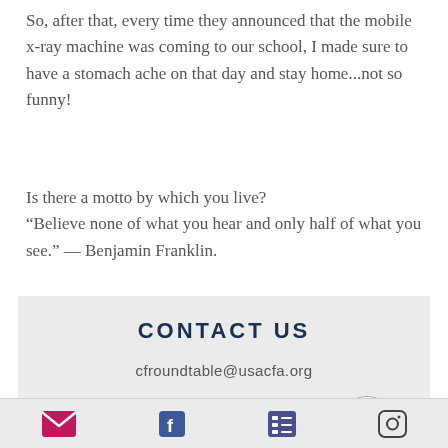So, after that, every time they announced that the mobile x-ray machine was coming to our school, I made sure to have a stomach ache on that day and stay home...not so funny!
Is there a motto by which you live? “Believe none of what you hear and only half of what you see.” — Benjamin Franklin.
CONTACT US
cfroundtable@usacfa.org
USACFA
9450 SW Gemini Dr
PMB 43881
[Figure (other): Footer bar with social media icons: email (pink envelope), Facebook (blue f), list/newsletter icon (purple), Instagram (camera outline)]